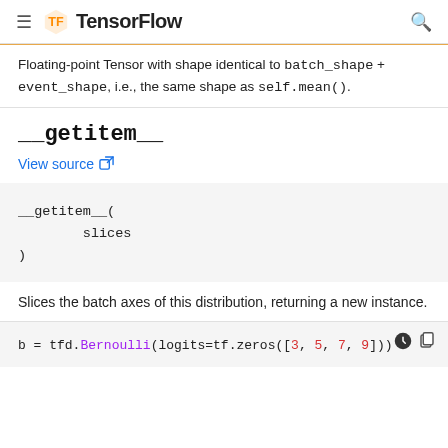TensorFlow
Floating-point Tensor with shape identical to batch_shape + event_shape, i.e., the same shape as self.mean().
__getitem__
View source
__getitem__(
    slices
)
Slices the batch axes of this distribution, returning a new instance.
b = tfd.Bernoulli(logits=tf.zeros([3, 5, 7, 9]))